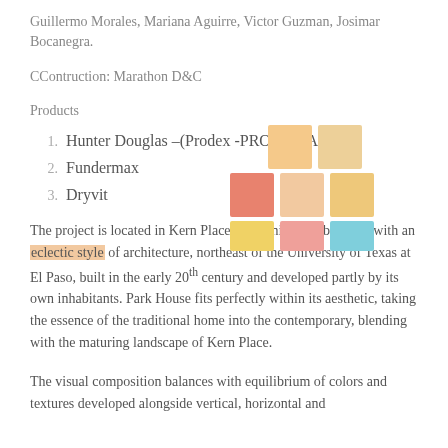Guillermo Morales, Mariana Aguirre, Victor Guzman, Josimar Bocanegra.
CContruction: Marathon D&C
Products
1. Hunter Douglas –(Prodex -PRODEMA)
2. Fundermax
3. Dryvit
[Figure (illustration): A 3x2 grid of colored squares: top row has peach/orange and light orange; middle row has salmon/pink, light peach, and light orange; bottom row has yellow-orange, pink-salmon, and light blue.]
The project is located in Kern Place, an iconic neighborhood with an eclectic style of architecture, northeast of the University of Texas at El Paso, built in the early 20th century and developed partly by its own inhabitants. Park House fits perfectly within its aesthetic, taking the essence of the traditional home into the contemporary, blending with the maturing landscape of Kern Place.
The visual composition balances with equilibrium of colors and textures developed alongside vertical, horizontal and